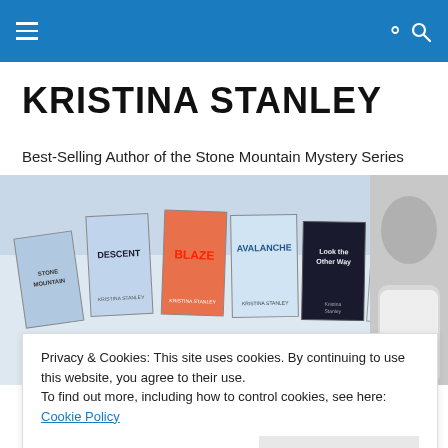Navigation bar with menu and search icons
KRISTINA STANLEY
Best-Selling Author of the Stone Mountain Mystery Series
[Figure (photo): Row of Kristina Stanley book covers (Stone Mountain, Descent, Blaze, Avalanche, Look the Other Way, and a guide book) with a black-and-white photo of the author on the right side]
Privacy & Cookies: This site uses cookies. By continuing to use this website, you agree to their use.
To find out more, including how to control cookies, see here: Cookie Policy
Close and accept
Promoting Reading – Promoting Authors